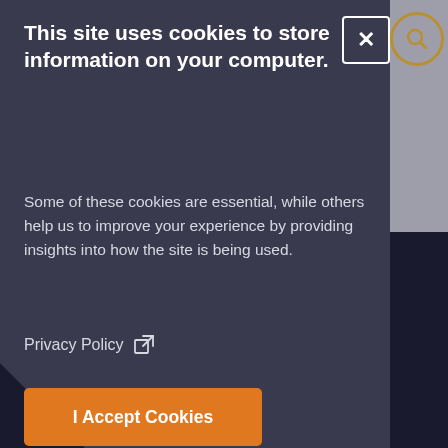This site uses cookies to store information on your computer.
Some of these cookies are essential, while others help us to improve your experience by providing insights into how the site is being used.
Privacy Policy ↗
I Accept Cookies
I Do Not Accept Cookies
essary Cookies